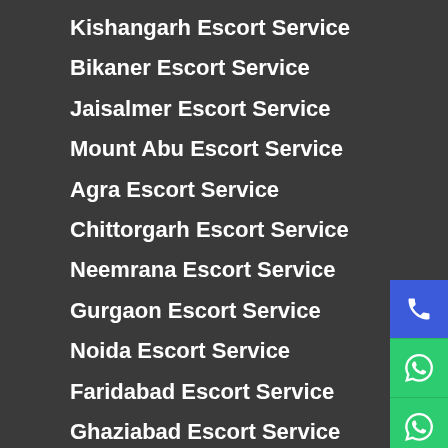Kishangarh Escort Service
Bikaner Escort Service
Jaisalmer Escort Service
Mount Abu Escort Service
Agra Escort Service
Chittorgarh Escort Service
Neemrana Escort Service
Gurgaon Escort Service
Noida Escort Service
Faridabad Escort Service
Ghaziabad Escort Service